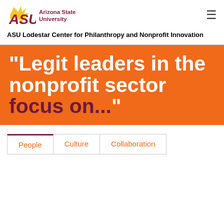Arizona State University
ASU Lodestar Center for Philanthropy and Nonprofit Innovation
"Legit leaders in the nonprofit sector focus on..."
People
Culture
Collaboration